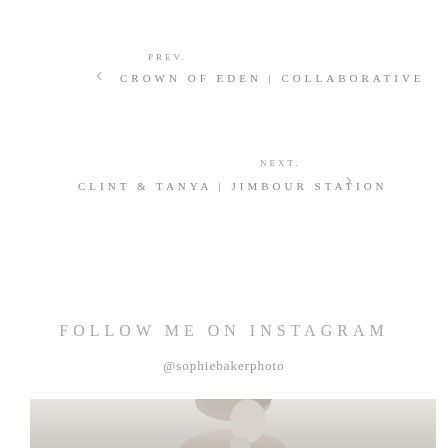PREV.
CROWN OF EDEN | COLLABORATIVE
NEXT.
CLINT & TANYA | JIMBOUR STATION
FOLLOW ME ON INSTAGRAM
@sophiebakerphoto
[Figure (photo): Black and white photo of a woman with blonde hair in a bun, viewed from the side/back, cropped at the bottom of the page]